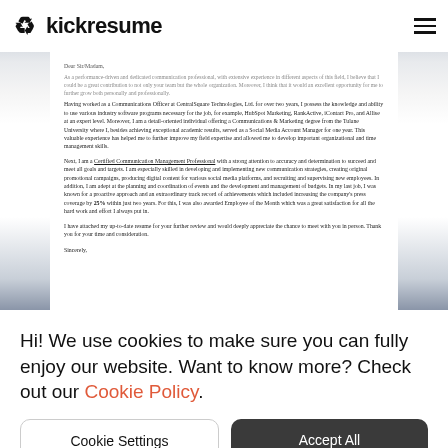kickresume
Dear Sir/Madam,
As a performance-driven and dedicated communication professional, with extensive experience in different aspects of this field, I believe that I could be a great contribution to not only your team but the whole organization. Moreover, I think that it would an excellent opportunity for me to further grow both personally and professionally.
Having worked as a Communications Officer at CentralSquare Technologies, Ltd. for over two years, I possess the knowledge and ability to use various industry software programs necessary for the job, for example, HubSpot Marketing, RankActive, iContact Pro, and Allise at an expert level. Moreover, I am a detail-oriented individual offering a Communications & Marketing degree from the Tulane University where I, besides achieving exceptional academic results, served as a Social Media Account Manager for one year. This valuable experience has helped me to further improve my field expertise and allowed me to develop important organizational and time management skills.
Next, I am a Certified Communication Management Professional with a strong attention to accuracy and determination to succeed and meet all goals and targets. I am especially skilled in developing and implementing new communication strategies, creating original promotional campaigns, producing digital content for various social media platforms, and recruiting and supervising new employees. In addition, I am adept at the planning and coordination of events and the development and management of budgets. In my last job, I was known for a proactive approach and an extraordinary track record of achievements which included increasing the company's press coverage by 25% within just two years. For this, I was also awarded Employee of the Month which was a great satisfaction for all the hard work and effort I always put in.
I have attached my up-to-date resume for your further review and would deeply appreciate the chance to meet with you in person. Thank you for your time and consideration.
Sincerely,
Hi! We use cookies to make sure you can fully enjoy our website. Want to know more? Check out our Cookie Policy.